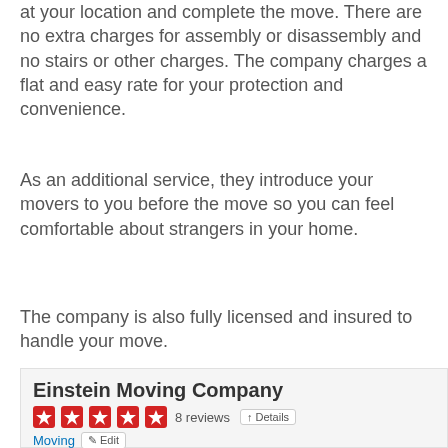at your location and complete the move. There are no extra charges for assembly or disassembly and no stairs or other charges. The company charges a flat and easy rate for your protection and convenience.
As an additional service, they introduce your movers to you before the move so you can feel comfortable about strangers in your home.
The company is also fully licensed and insured to handle your move.
[Figure (screenshot): Yelp listing screenshot for Einstein Moving Company showing 5 red stars, 8 reviews, Details button, Moving category with Edit button, and a map of Dallas/Fort Worth area with a Yelp pin marker, plus a partial photo on the right.]